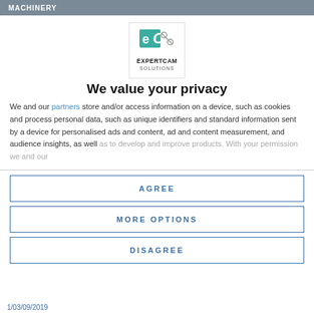MACHINERY
[Figure (logo): ExpertCAM Solutions logo with teal 'eC' icon above the company name]
We value your privacy
We and our partners store and/or access information on a device, such as cookies and process personal data, such as unique identifiers and standard information sent by a device for personalised ads and content, ad and content measurement, and audience insights, as well as to develop and improve products. With your permission we and our
AGREE
MORE OPTIONS
DISAGREE
1/03/09/2019